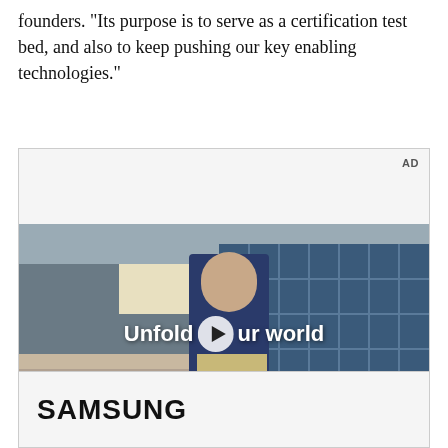founders. "Its purpose is to serve as a certification test bed, and also to keep pushing our key enabling technologies."
[Figure (photo): Advertisement showing a young man in a denim jacket walking through a diner. Text overlay reads 'Unfold your world' with a play button icon. AD label in top right. Samsung branding at bottom.]